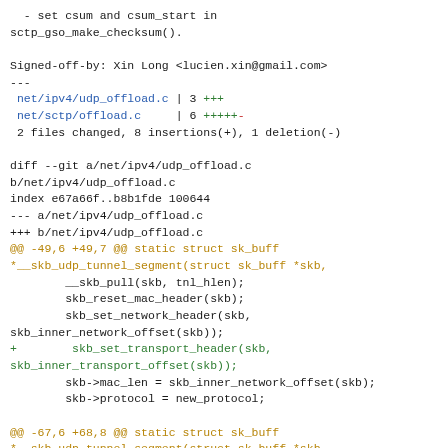- set csum and csum_start in sctp_gso_make_checksum().

Signed-off-by: Xin Long <lucien.xin@gmail.com>
---
 net/ipv4/udp_offload.c | 3 +++
 net/sctp/offload.c     | 6 +++++-
 2 files changed, 8 insertions(+), 1 deletion(-)

diff --git a/net/ipv4/udp_offload.c
b/net/ipv4/udp_offload.c
index e67a66f..b8b1fde 100644
--- a/net/ipv4/udp_offload.c
+++ b/net/ipv4/udp_offload.c
@@ -49,6 +49,7 @@ static struct sk_buff
*__skb_udp_tunnel_segment(struct sk_buff *skb,
        __skb_pull(skb, tnl_hlen);
        skb_reset_mac_header(skb);
        skb_set_network_header(skb,
skb_inner_network_offset(skb));
+        skb_set_transport_header(skb,
skb_inner_transport_offset(skb));
        skb->mac_len = skb_inner_network_offset(skb);
        skb->protocol = new_protocol;

@@ -67,6 +68,8 @@ static struct sk_buff
*__skb_udp_tunnel_segment(struct sk_buff *skb,
                                        (NETIF_F_HW_CSUM
| NETIF_F_IP_CSUM))));